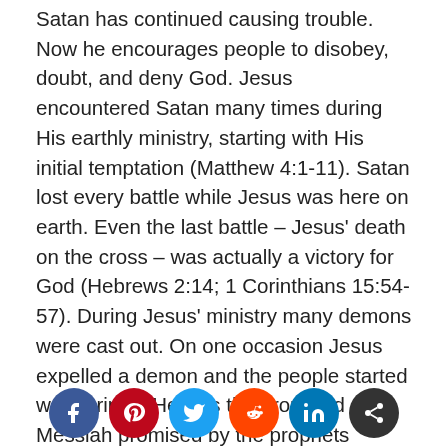Satan has continued causing trouble. Now he encourages people to disobey, doubt, and deny God. Jesus encountered Satan many times during His earthly ministry, starting with His initial temptation (Matthew 4:1-11). Satan lost every battle while Jesus was here on earth. Even the last battle – Jesus' death on the cross – was actually a victory for God (Hebrews 2:14; 1 Corinthians 15:54-57). During Jesus' ministry many demons were cast out. On one occasion Jesus expelled a demon and the people started wondering if He was the promised Messiah promised by the prophets (Matthew 12:23). The religious leaders could not explain away Jesus' miraculous exorcism, and so they claimed that He was demon
[Figure (other): Social media share buttons: Facebook, Pinterest, Twitter, Reddit, LinkedIn, Share]